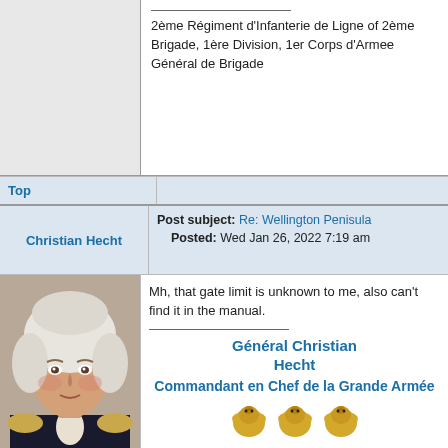2ème Régiment d'Infanterie de Ligne of 2ème Brigade, 1ère Division, 1er Corps d'Armee
Général de Brigade
Top
Christian Hecht
Post subject: Re: Wellington Penisula
Posted: Wed Jan 26, 2022 7:19 am
[Figure (photo): Portrait painting of an 18th century military officer with white powdered wig, wearing a dark uniform with gold epaulettes and white cravat]
Mh, that gate limit is unknown to me, also can't find it in the manual.
Général Christian Hecht Commandant en Chef de la Grande Armée